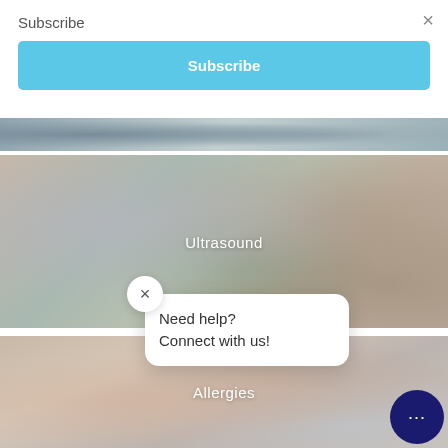Subscribe
Subscribe
[Figure (photo): Partial medical/clinical image strip at top, partially cropped]
[Figure (photo): Ultrasound image card with label 'Ultrasound' centered on image]
[Figure (photo): Allergies image card showing skin with rash, label 'Allergies' centered]
Need help? Connect with us!